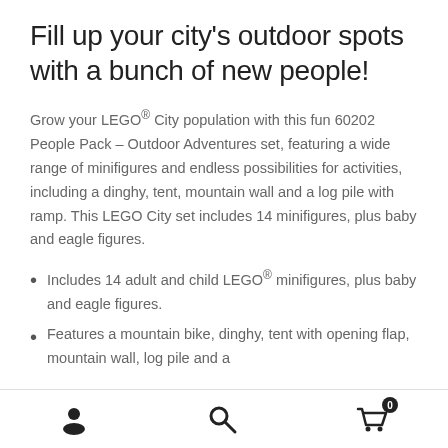Fill up your city's outdoor spots with a bunch of new people!
Grow your LEGO® City population with this fun 60202 People Pack – Outdoor Adventures set, featuring a wide range of minifigures and endless possibilities for activities, including a dinghy, tent, mountain wall and a log pile with ramp. This LEGO City set includes 14 minifigures, plus baby and eagle figures.
Includes 14 adult and child LEGO® minifigures, plus baby and eagle figures.
Features a mountain bike, dinghy, tent with opening flap, mountain wall, log pile and a
Navigation bar with user, search, and cart icons